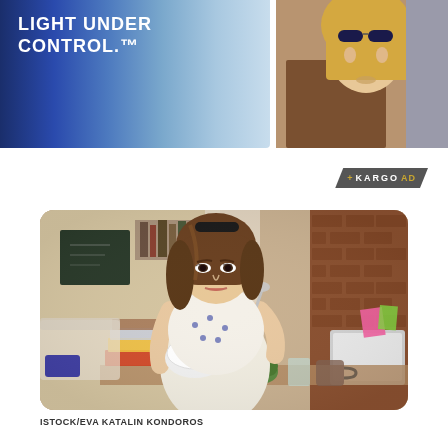[Figure (photo): Advertisement banner - left side with blue gradient color swatches and white text reading LIGHT UNDER CONTROL.]
[Figure (photo): Advertisement banner - right side showing a woman with sunglasses and blonde hair, brown jacket.]
[Figure (logo): KARGO AD badge/label in dark hexagonal shape with gold accent text.]
[Figure (photo): Main editorial photo: young brunette woman eating a salad from a red and white bowl, sitting at a desk with a laptop and books, in a home office setting with brick wall background. Photo credit: iStock/Eva Katalin Kondoros.]
ISTOCK/EVA KATALIN KONDOROS